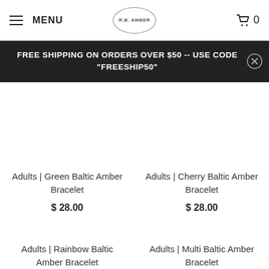MENU | R.B. AMBER | 0
FREE SHIPPING ON ORDERS OVER $50 -- USE CODE "FREESHIP50"
Adults | Green Baltic Amber Bracelet
$ 28.00
Adults | Cherry Baltic Amber Bracelet
$ 28.00
Adults | Rainbow Baltic Amber Bracelet
Adults | Multi Baltic Amber Bracelet